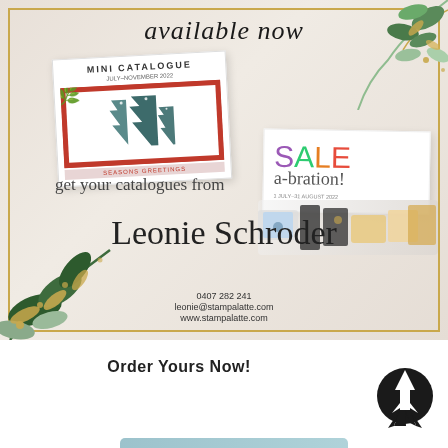[Figure (illustration): Promotional flyer for Stampin' Up catalogues featuring decorative green and gold leaves, a Mini Catalogue card with Christmas trees card, a Sale-a-bration card, product collage strip, script text 'get your catalogues from', signature 'Leonie Schroder', phone 0407 282 241, email leonie@stampalatte.com, website www.stampalatte.com, with 'available now' at top]
Order Yours Now!